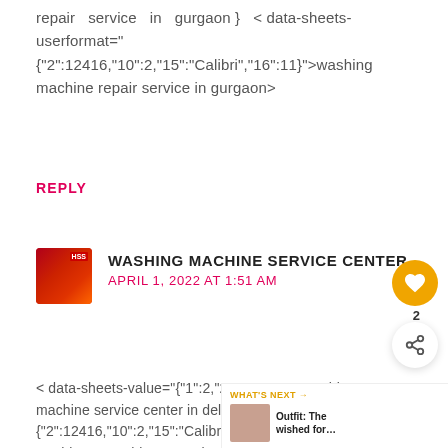repair service in gurgaon } < data-sheets userformat=" {"2":12416,"10":2,"15":"Calibri","16":11}">washing machine repair service in gurgaon>
REPLY
[Figure (logo): Red circular logo with a service worker figure]
WASHING MACHINE SERVICE CENTER
APRIL 1, 2022 AT 1:51 AM
< data-sheets-value="{"1":2,"2":"samsung washing machine service center in delhi"}" data-sheet userformat=" {"2":12416,"10":2,"15":"Calibri","16":11}">samsung washing machine service center in delhihttps://www.washing-machine-service-centre.co.in/samsung-washing-machine-